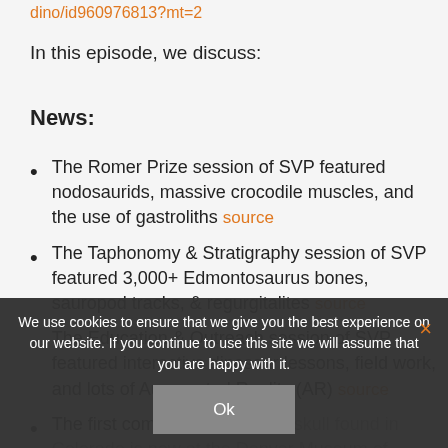dino/id96097681 3?mt=2
In this episode, we discuss:
News:
The Romer Prize session of SVP featured nodosaurids, massive crocodile muscles, and the use of gastroliths source
The Taphonomy & Stratigraphy session of SVP featured 3,000+ Edmontosaurus bones, sauropod tracks, & regurgitalites source
The Education & Outreach session of SVP featured interactive dinosaur lessons, field work, and lots of Augmented Reality (AR) source
The first complete Triceratops skull found in Colorado is now at the Denver Museum of
We use cookies to ensure that we give you the best experience on our website. If you continue to use this site we will assume that you are happy with it.